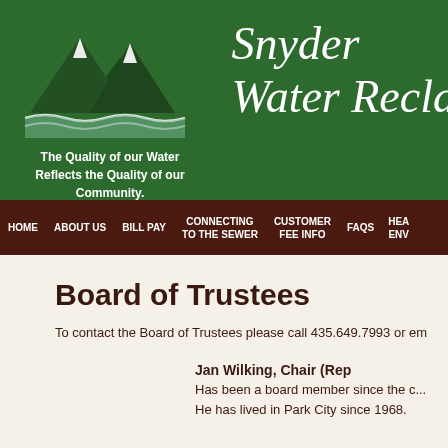[Figure (logo): Green mountain peaks with wavy water lines below, logo for Snyder Water Reclamation]
The Quality of our Water
Reflects the Quality of our Community.
Snyder Water Recla...
HOME | ABOUT US | BILL PAY | CONNECTING TO THE SEWER | CUSTOMER FEE INFO | FAQS | HEA ENV...
Board of Trustees
To contact the Board of Trustees please call 435.649.7993 or em...
Jan Wilking, Chair (Rep...)
Has been a board member since the c...
He has lived in Park City since 1968.